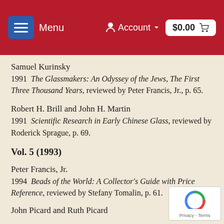Menu  Account  $0.00
Samuel Kurinsky
1991  The Glassmakers: An Odyssey of the Jews, The First Three Thousand Years, reviewed by Peter Francis, Jr., p. 65.
Robert H. Brill and John H. Martin
1991  Scientific Research in Early Chinese Glass, reviewed by Roderick Sprague, p. 69.
Vol. 5 (1993)
Peter Francis, Jr.
1994  Beads of the World: A Collector's Guide with Price Reference, reviewed by Stefany Tomalin, p. 61.
John Picard and Ruth Picard